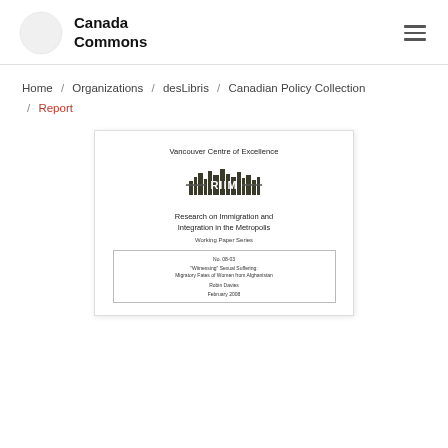Canada Commons
Home / Organizations / desLibris / Canadian Policy Collection / Report
[Figure (screenshot): Document cover page thumbnail for a Vancouver Centre of Excellence RIIM Working Paper. Title: 'Witnessing' Sexual Suffering: Migratory Fates of Women from Afghanistan. Author: Robin Davies. February 2008.]